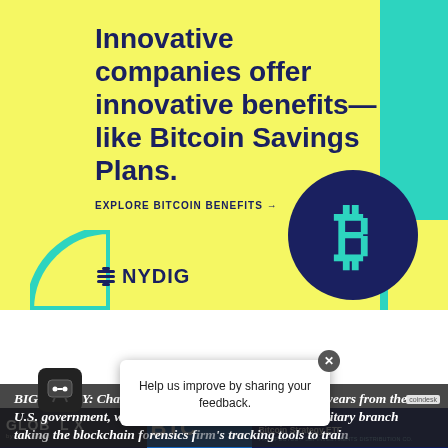[Figure (illustration): NYDIG advertisement with yellow background. Headline: 'Innovative companies offer innovative benefits—like Bitcoin Savings Plans.' with an 'EXPLORE BITCOIN BENEFITS →' link, NYDIG logo, teal accent bar, and Bitcoin symbol circle.]
[Figure (stacked-bar-chart): Partial view of a bar chart showing U.S. government payments to Chainalysis by agency (FBI, ICE, IRS, OTHER, TSA) over years including 2016 and 2017. Legend visible on right side.]
BIG MONEY: Chainalysis has made $10 million in five years from the U.S. government, with nearly a dozen agencies and a military branch taking the blockchain forensics firm's tracking tools to train… Coindesk
Help us improve by sharing your feedback.